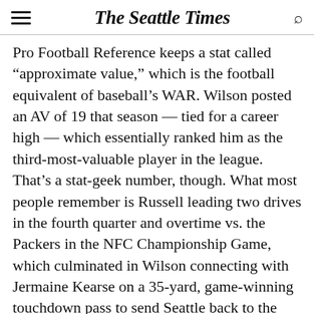The Seattle Times
Pro Football Reference keeps a stat called “approximate value,” which is the football equivalent of baseball’s WAR. Wilson posted an AV of 19 that season — tied for a career high — which essentially ranked him as the third-most-valuable player in the league. That’s a stat-geek number, though. What most people remember is Russell leading two drives in the fourth quarter and overtime vs. the Packers in the NFC Championship Game, which culminated in Wilson connecting with Jermaine Kearse on a 35-yard, game-winning touchdown pass to send Seattle back to the Super Bowl.
What about 2015? It might not pop into most people’s memories, but that was the season Wilson